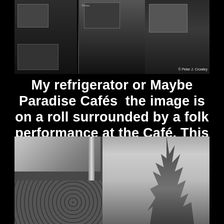[Figure (photo): Black and white photo strip at top showing multiple photographs pinned or arranged, including images of people, buildings, and scenes. A photo credit reads '© Peter J. Crowley' in bottom right.]
My refrigerator or Maybe Paradise Cafés  the image is on a roll surrounded by a folk performance at the Café. This was also a place for me to plan, eat and sit in the sun and see.
[Figure (photo): Black and white photograph of a café interior showing window frames with dramatic light and shadow patterns on the floor, and a vase with flowers and wheat stalks on the right side.]